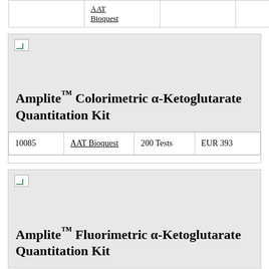|  | AAT Bioquest |  |  |
[Figure (photo): Broken/placeholder product image thumbnail for Amplite Colorimetric alpha-Ketoglutarate Quantitation Kit]
Amplite™ Colorimetric α-Ketoglutarate Quantitation Kit
| 10085 | AAT Bioquest | 200 Tests | EUR 393 |
[Figure (photo): Broken/placeholder product image thumbnail for Amplite Fluorimetric alpha-Ketoglutarate Quantitation Kit]
Amplite™ Fluorimetric α-Ketoglutarate Quantitation Kit